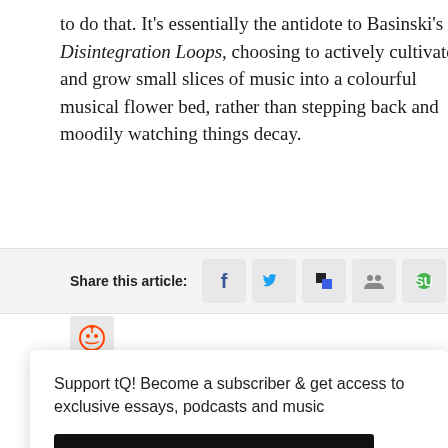to do that. It's essentially the antidote to Basinski's Disintegration Loops, choosing to actively cultivate and grow small slices of music into a colourful musical flower bed, rather than stepping back and moodily watching things decay.
Share this article:
[Figure (screenshot): Social share icons: Facebook, Twitter, Delicious, MySpace/contacts, StumbleUpon, Reddit]
Support tQ! Become a subscriber & get access to exclusive essays, podcasts and music
SUBSCRIBE TO TQ
If you lo... bringing ... music by... as the un... you'll rec... podcasts, and specially commissioned music by some of our favourite artists. To find out more, click here.